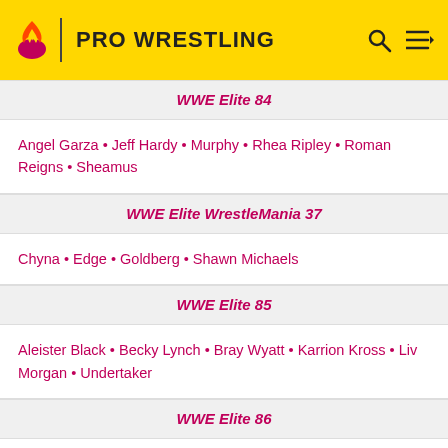PRO WRESTLING
WWE Elite 84
Angel Garza • Jeff Hardy • Murphy • Rhea Ripley • Roman Reigns • Sheamus
WWE Elite WrestleMania 37
Chyna • Edge • Goldberg • Shawn Michaels
WWE Elite 85
Aleister Black • Becky Lynch • Bray Wyatt • Karrion Kross • Liv Morgan • Undertaker
WWE Elite 86
Bray Wyatt • Carmella • Seth Rollins • Sid Justice • The Miz • Triple H
WWE Elite Top Picks 2022